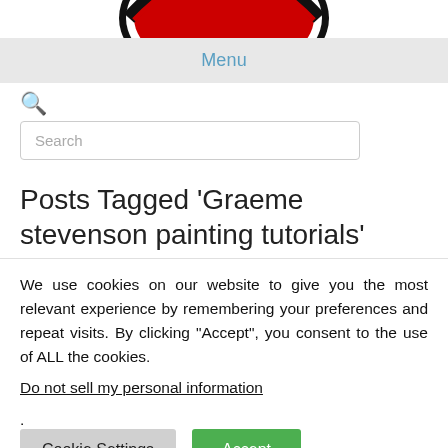[Figure (logo): Partial circular logo with red and black design, cropped at top of page]
Menu
Search
Posts Tagged ‘Graeme stevenson painting tutorials’
We use cookies on our website to give you the most relevant experience by remembering your preferences and repeat visits. By clicking “Accept”, you consent to the use of ALL the cookies.
Do not sell my personal information.
Cookie Settings
Accept